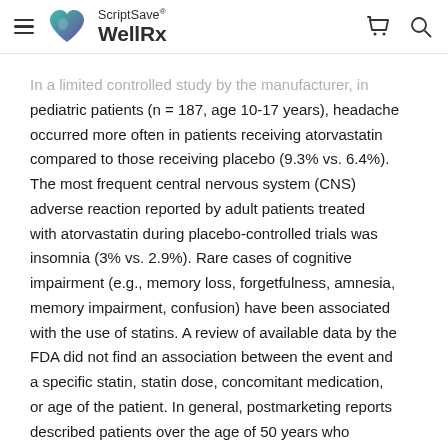ScriptSave WellRx
In a limited controlled study by the manufacturer, in pediatric patients (n = 187, age 10-17 years), headache occurred more often in patients receiving atorvastatin compared to those receiving placebo (9.3% vs. 6.4%). The most frequent central nervous system (CNS) adverse reaction reported by adult patients treated with atorvastatin during placebo-controlled trials was insomnia (3% vs. 2.9%). Rare cases of cognitive impairment (e.g., memory loss, forgetfulness, amnesia, memory impairment, confusion) have been associated with the use of statins. A review of available data by the FDA did not find an association between the event and a specific statin, statin dose, concomitant medication, or age of the patient. In general, postmarketing reports described patients over the age of 50 years who experienced notable, but ill-defined memory loss or